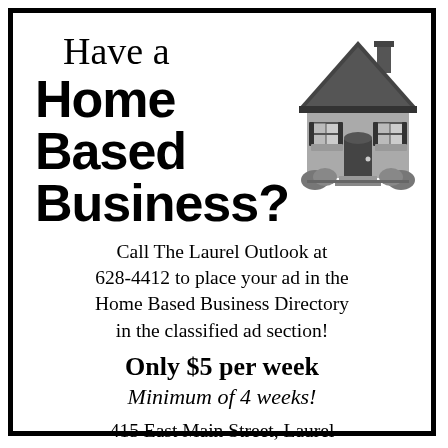Have a Home Based Business?
[Figure (illustration): Cartoon illustration of a gray house with dark roof, windows with shutters, front door, steps, and bushes]
Call The Laurel Outlook at 628-4412 to place your ad in the Home Based Business Directory in the classified ad section!
Only $5 per week
Minimum of 4 weeks!
415 East Main Street, Laurel